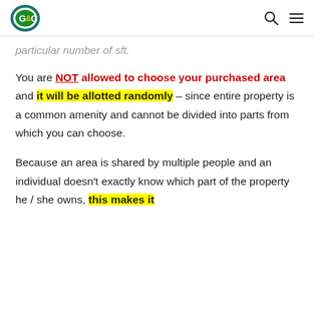G&C logo, search icon, menu icon
particular number of sft.
You are NOT allowed to choose your purchased area and it will be allotted randomly – since entire property is a common amenity and cannot be divided into parts from which you can choose.
Because an area is shared by multiple people and an individual doesn't exactly know which part of the property he / she owns, this makes it